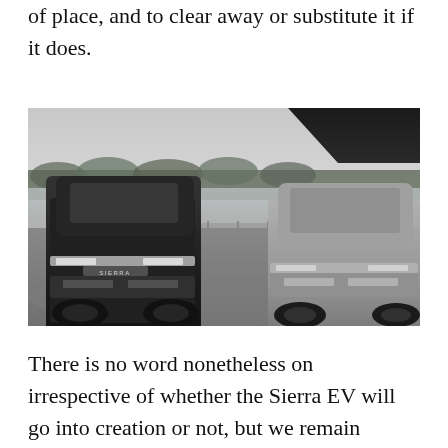of place, and to clear away or substitute it if it does.
[Figure (photo): Black and white photograph of two GMC Sierra EV trucks photographed from behind in a parking area near a body of water with trees in the background. The left truck is darker and shows the 'SIERRA' badge on the rear; the right truck is lighter in tone. A covered structure is visible in the upper right corner.]
There is no word nonetheless on irrespective of whether the Sierra EV will go into creation or not, but we remain hopeful for the long term. That